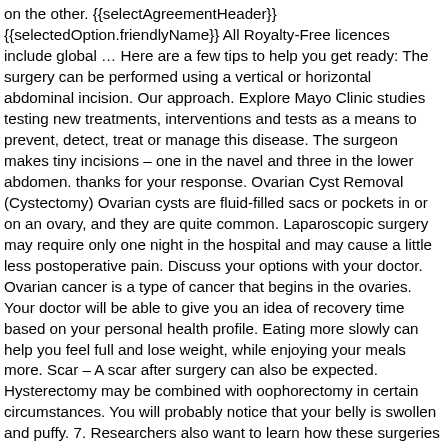on the other. {{selectAgreementHeader}} {{selectedOption.friendlyName}} All Royalty-Free licences include global … Here are a few tips to help you get ready: The surgery can be performed using a vertical or horizontal abdominal incision. Our approach. Explore Mayo Clinic studies testing new treatments, interventions and tests as a means to prevent, detect, treat or manage this disease. The surgeon makes tiny incisions – one in the navel and three in the lower abdomen. thanks for your response. Ovarian Cyst Removal (Cystectomy) Ovarian cysts are fluid-filled sacs or pockets in or on an ovary, and they are quite common. Laparoscopic surgery may require only one night in the hospital and may cause a little less postoperative pain. Discuss your options with your doctor. Ovarian cancer is a type of cancer that begins in the ovaries. Your doctor will be able to give you an idea of recovery time based on your personal health profile. Eating more slowly can help you feel full and lose weight, while enjoying your meals more. Scar – A scar after surgery can also be expected. Hysterectomy may be combined with oophorectomy in certain circumstances. You will probably notice that your belly is swollen and puffy. 7. Researchers also want to learn how these surgeries affect your quality of life. Follow your doctor's instructions during the recovery time.